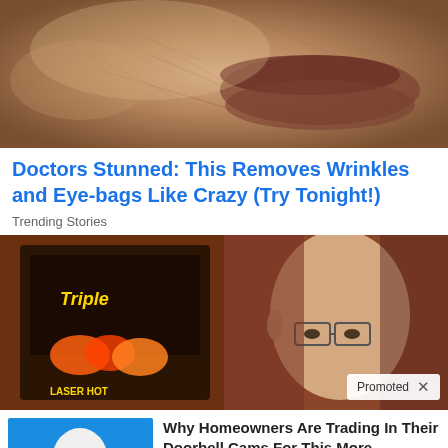[Figure (photo): Close-up photo of aged human skin showing wrinkles and texture near mouth/lip area]
Doctors Stunned: This Removes Wrinkles and Eye-bags Like Crazy (Try Tonight!)
Trending Stories
[Figure (photo): Two-panel image: left shows a slot machine (Triple Fire Hot), right shows an older man with glasses near colorful casino machine. Promoted badge with X in lower right.]
[Figure (photo): Thumbnail of person holding a white dome security camera bulb on blue background]
Why Homeowners Are Trading In Their Doorbell Cams For This More-Advanced Alternative
🔥 690
[Figure (photo): Thumbnail of dramatic sky with light rays, play button overlay]
Everyone Who Believes In God Should Watch This. It Will Blow Your Mind
🔥 26,198